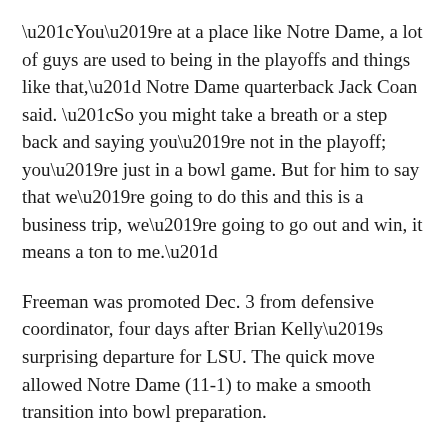“You’re at a place like Notre Dame, a lot of guys are used to being in the playoffs and things like that,” Notre Dame quarterback Jack Coan said. “So you might take a breath or a step back and saying you’re not in the playoff; you’re just in a bowl game. But for him to say that we’re going to do this and this is a business trip, we’re going to go out and win, it means a ton to me.”
Freeman was promoted Dec. 3 from defensive coordinator, four days after Brian Kelly’s surprising departure for LSU. The quick move allowed Notre Dame (11-1) to make a smooth transition into bowl preparation.
The Irish hoped it would be in the CFP for the first time since 2019. Their only loss was to No. 4 Cincinnati on Oct. 2, but, sitting at No. 6 in the rankings, they needed a bit of chaos on the final weekend of the regular season to get in.